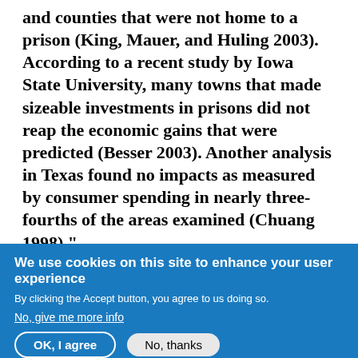and counties that were not home to a prison (King, Mauer, and Huling 2003). According to a recent study by Iowa State University, many towns that made sizeable investments in prisons did not reap the economic gains that were predicted (Besser 2003). Another analysis in Texas found no impacts as measured by consumer spending in nearly three-fourths of the areas examined (Chuang 1998)."
We use cookies on this site to enhance your user experience
By clicking the Accept button, you agree to us doing so.
No, give me more info
OK, I agree | No, thanks